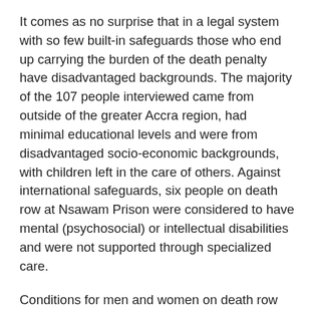It comes as no surprise that in a legal system with so few built-in safeguards those who end up carrying the burden of the death penalty have disadvantaged backgrounds. The majority of the 107 people interviewed came from outside of the greater Accra region, had minimal educational levels and were from disadvantaged socio-economic backgrounds, with children left in the care of others. Against international safeguards, six people on death row at Nsawam Prison were considered to have mental (psychosocial) or intellectual disabilities and were not supported through specialized care.
Conditions for men and women on death row do not meet international standards. Both men and women reported overcrowding, poor sanitary facilities, isolation, and lack of adequate access to medical care and to recreational or educational opportunities available to other people in detention. Amnesty International opposes the death penalty in all cases